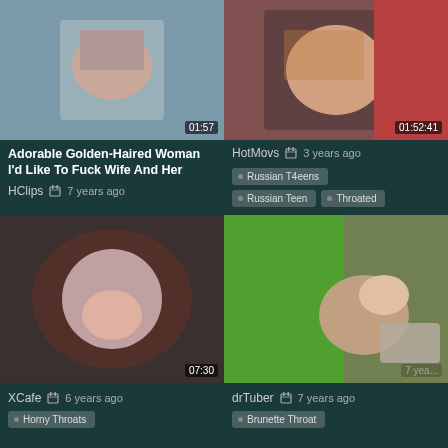[Figure (screenshot): Video thumbnail top-left, duration 01:57]
[Figure (screenshot): Video thumbnail top-right, duration 01:52:41]
Adorable Golden-Haired Woman I'd Like To Fuck Wife And Her
HClips   7 years ago
HotMovs   3 years ago
Russian T4eens
Russian Teen
Throated
[Figure (screenshot): Video thumbnail bottom-left, duration 07:30]
[Figure (screenshot): Video thumbnail bottom-right, duration blurred]
XCafe   6 years ago
drTuber   7 years ago
Horny Throats
Brunette Throat